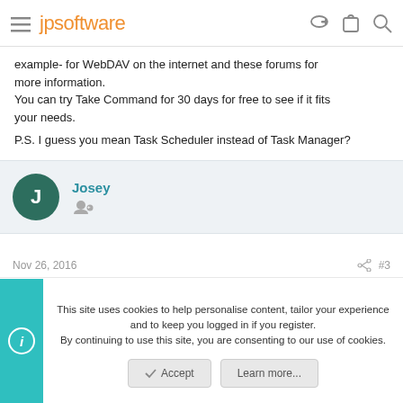jpsoftware
example- for WebDAV on the internet and these forums for more information.
You can try Take Command for 30 days for free to see if it fits your needs.

P.S. I guess you mean Task Scheduler instead of Task Manager?
Josey
Nov 26, 2016  #3
This site uses cookies to help personalise content, tailor your experience and to keep you logged in if you register.
By continuing to use this site, you are consenting to our use of cookies.
Accept  Learn more...